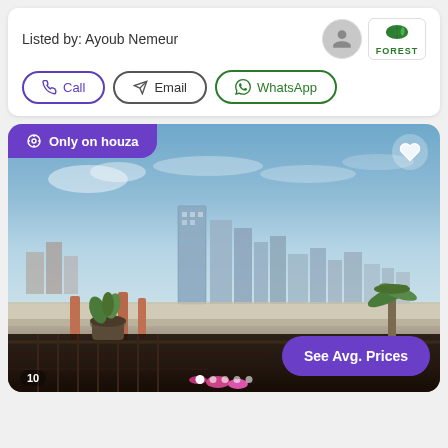Listed by: Ayoub Nemeur
[Figure (infographic): Contact buttons row: Call (purple outline), Email (gray outline), WhatsApp (green outline)]
[Figure (photo): Property listing photo showing a balcony with ornate iron railings, potted plants, and a city skyline in the background under a blue sky. Badge reads 'Only on houza'. Button reads 'See Avg. Prices'.]